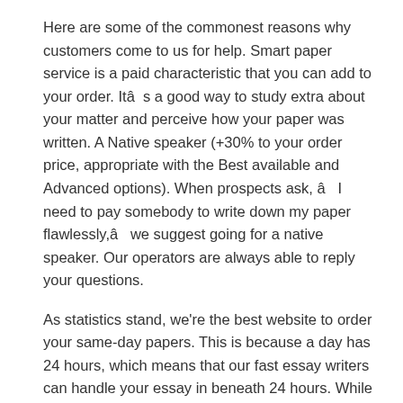Here are some of the commonest reasons why customers come to us for help. Smart paper service is a paid characteristic that you can add to your order. Itâs a good way to study extra about your matter and perceive how your paper was written. A Native speaker (+30% to your order price, appropriate with the Best available and Advanced options). When prospects ask, âI need to pay somebody to write down my paper flawlessly,â we suggest going for a native speaker. Our operators are always able to reply your questions.
As statistics stand, we’re the best website to order your same-day papers. This is because a day has 24 hours, which means that our fast essay writers can handle your essay in beneath 24 hours. While we can boast of writing high quality papers, we all the time encourage purchasers to chip